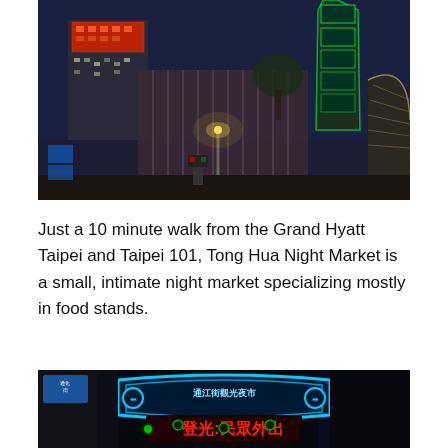[Figure (photo): Night cityscape photo showing tall illuminated skyscrapers including Taipei 101 lit in green, a red-lit building, street lights, and a modern curved architectural structure in the foreground.]
Just a 10 minute walk from the Grand Hyatt Taipei and Taipei 101, Tong Hua Night Market is a small, intimate night market specializing mostly in food stands.
[Figure (photo): Night photo of the Tong Hua Night Market entrance sign with neon lights. The arch sign shows Chinese characters and a red LED display reading '登光:民眾外出'.]